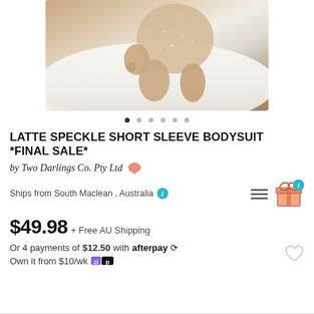[Figure (photo): Close-up photo of a baby wearing a latte/beige speckled short sleeve bodysuit, lying on a white fluffy rug]
LATTE SPECKLE SHORT SLEEVE BODYSUIT *FINAL SALE*
by Two Darlings Co. Pty Ltd
Ships from South Maclean , Australia
$49.98 + Free AU Shipping
Or 4 payments of $12.50 with afterpay
Own it from $10/wk zip